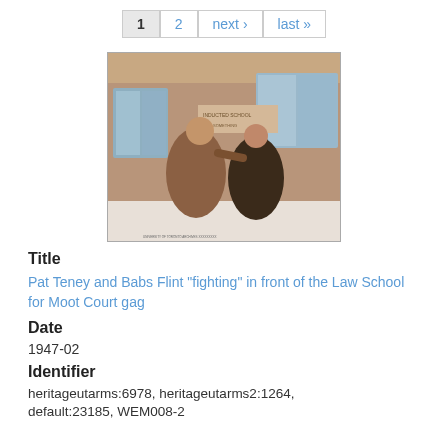1  2  next ›  last »
[Figure (photo): Sepia-toned historical photograph of two women, Pat Teney and Babs Flint, playfully 'fighting' in front of a brick building (Law School) in the snow, with windows visible in the background. Small text caption at bottom.]
Title
Pat Teney and Babs Flint "fighting" in front of the Law School for Moot Court gag
Date
1947-02
Identifier
heritageutarms:6978, heritageutarms2:1264, default:23185, WEM008-2